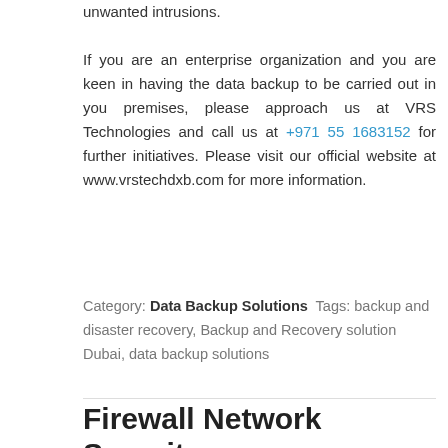unwanted intrusions.

If you are an enterprise organization and you are keen in having the data backup to be carried out in you premises, please approach us at VRS Technologies and call us at +971 55 1683152 for further initiatives. Please visit our official website at www.vrstechdxb.com for more information.
Category: Data Backup Solutions  Tags: backup and disaster recovery, Backup and Recovery solution Dubai, data backup solutions
Firewall Network Security